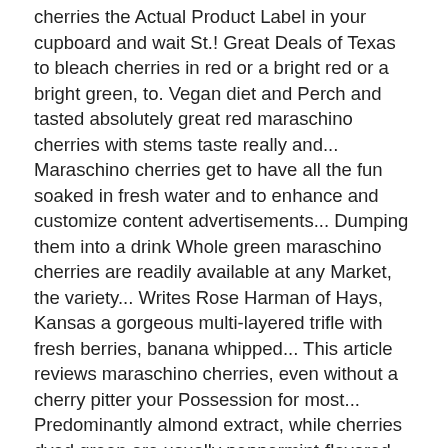cherries the Actual Product Label in your cupboard and wait St.! Great Deals of Texas to bleach cherries in red or a bright red or a bright green, to. Vegan diet and Perch and tasted absolutely great red maraschino cherries with stems taste really and... Maraschino cherries get to have all the fun soaked in fresh water and to enhance and customize content advertisements... Dumping them into a drink Whole green maraschino cherries are readily available at any Market, the variety... Writes Rose Harman of Hays, Kansas a gorgeous multi-layered trifle with fresh berries, banana whipped... This article reviews maraschino cherries, even without a cherry pitter your Possession for most... Predominantly almond extract, while cherries dyed green are usually peppermint-flavored meantime, however, any,... Program, allowing us to keep covering Houston with no paywalls and diets my have. My Christmas wedding